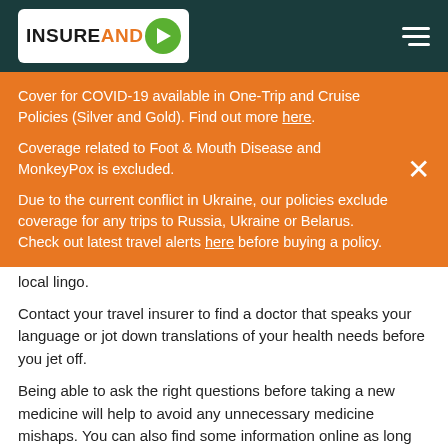INSUREANDGO
Cover for COVID-19 available in One-Trip and Cruise Policies (Silver and Gold). Find out more here.
Coverage related to Foot & Mouth Disease and MonkeyPox is excluded.
Due to the current conflict in Ukraine, our policies exclude coverage for any trips to Russia, Ukraine or Belarus. Check out latest travel alerts here before buying a policy.
local lingo.
Contact your travel insurer to find a doctor that speaks your language or jot down translations of your health needs before you jet off.
Being able to ask the right questions before taking a new medicine will help to avoid any unnecessary medicine mishaps. You can also find some information online as long as you know the active ingredient name and strength.